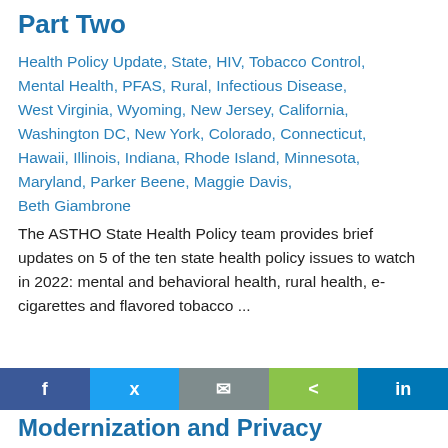Part Two
Health Policy Update, State, HIV, Tobacco Control, Mental Health, PFAS, Rural, Infectious Disease, West Virginia, Wyoming, New Jersey, California, Washington DC, New York, Colorado, Connecticut, Hawaii, Illinois, Indiana, Rhode Island, Minnesota, Maryland, Parker Beene, Maggie Davis, Beth Giambrone
The ASTHO State Health Policy team provides brief updates on 5 of the ten state health policy issues to watch in 2022: mental and behavioral health, rural health, e-cigarettes and flavored tobacco ...
Modernization and Privacy